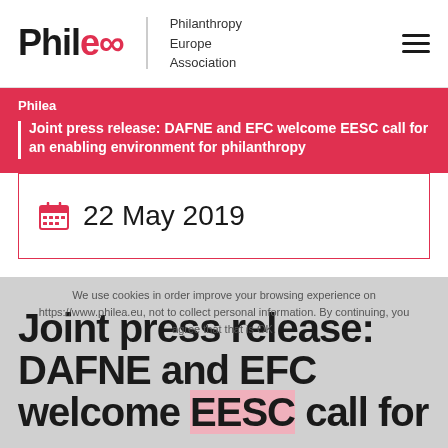[Figure (logo): Philea - Philanthropy Europe Association logo with infinity-shaped 'ea' in red and hamburger menu icon]
Philea | Joint press release: DAFNE and EFC welcome EESC call for an enabling environment for philanthropy
22 May 2019
Joint press release: DAFNE and EFC welcome EESC call for
We use cookies in order improve your browsing experience on https://www.philea.eu, not to collect personal information. By continuing, you agree that that is OK.